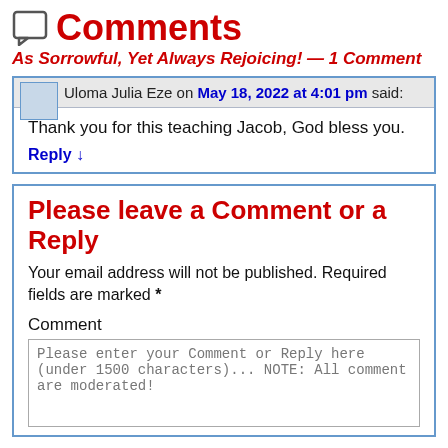Comments
As Sorrowful, Yet Always Rejoicing! — 1 Comment
Uloma Julia Eze on May 18, 2022 at 4:01 pm said:
Thank you for this teaching Jacob, God bless you.
Reply ↓
Please leave a Comment or a Reply
Your email address will not be published. Required fields are marked *
Comment
Please enter your Comment or Reply here (under 1500 characters)... NOTE: All comment are moderated!